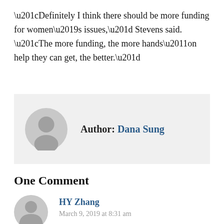“Definitely I think there should be more funding for women’s issues,” Stevens said. “The more funding, the more hands-on help they can get, the better.”
Author: Dana Sung
One Comment
HY Zhang
March 9, 2019 at 8:31 am